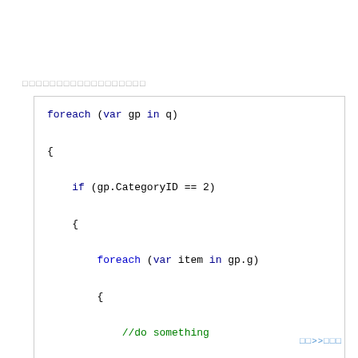□□□□□□□□□□□□□□□□□□
[Figure (screenshot): Code block showing a foreach loop with nested if condition and inner foreach loop in C# syntax]
□□>>□□□